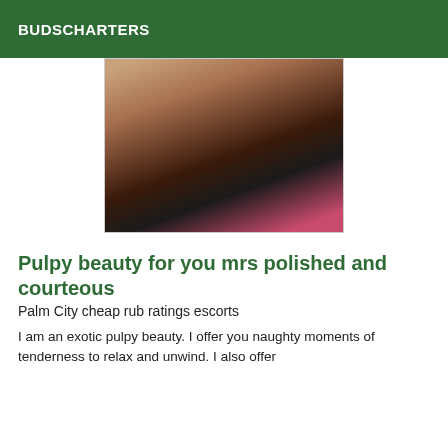BUDSCHARTERS
[Figure (photo): Close-up photo of a person wearing black lace lingerie]
Pulpy beauty for you mrs polished and courteous
Palm City cheap rub ratings escorts
I am an exotic pulpy beauty. I offer you naughty moments of tenderness to relax and unwind. I also offer